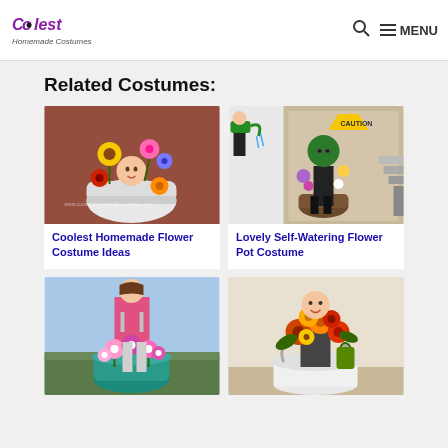Coolest Homemade Costumes — MENU
Related Costumes:
[Figure (photo): Baby in a stroller decorated as a flower pot with colorful crochet flowers surrounding the baby]
Coolest Homemade Flower Costume Ideas
[Figure (photo): Person wearing a flower pot costume with green top as plant and another person pretending to water them with a watering can]
Lovely Self-Watering Flower Pot Costume
[Figure (photo): Girl wearing a teal flower pot costume with pink and white flowers around her waist]
[Figure (photo): Person with autumn/fall flower arrangement in a white bucket costume with orange and red flowers]